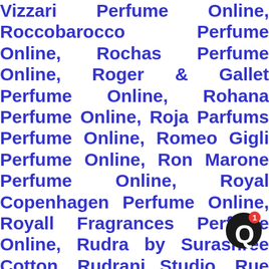Vizzari Perfume Online, Roccobarocco Perfume Online, Rochas Perfume Online, Roger & Gallet Perfume Online, Rohana Perfume Online, Roja Parfums Perfume Online, Romeo Gigli Perfume Online, Ron Marone Perfume Online, Royal Copenhagen Perfume Online, Royall Fragrances Perfume Online, Rudra by Surashree Cotton, Rudrani Studio, Rue 37 Perfume Online, S. Oliver Perfume Online, S. Zaitsev Perfume Online, ST Dupont Perfume Online, Sabyasachi Mukherjee, Sadhna, Sakamichi Perfume Online, Salvador Dali Perfume Online, Salvatore Ferragamo Perfume Online, Sanrio Perfume Online, Santi Burgas Perfume Online, Sarah B. Ruchi Perfume Online, Sarah Jessica Parker...
[Figure (other): Notification icon: black circle with white 'Q' shape and red badge showing number 1]